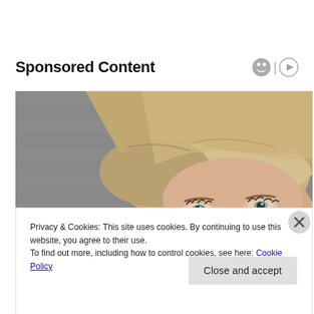Sponsored Content
[Figure (photo): Portrait photo of a blonde woman looking upward, against a grey textured background. Only the upper portion of her face and hair is visible.]
Privacy & Cookies: This site uses cookies. By continuing to use this website, you agree to their use.
To find out more, including how to control cookies, see here: Cookie Policy
Close and accept